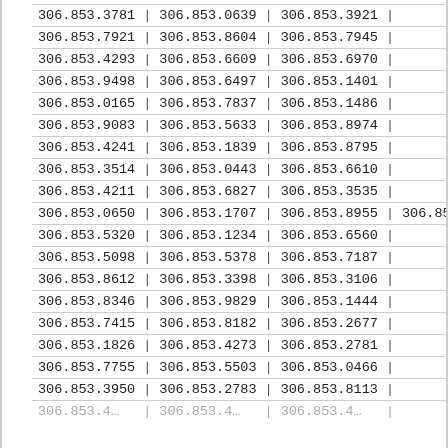| 306.853.3781 | | | 306.853.0639 | | | 306.853.3921 | | |
| 306.853.7921 | | | 306.853.8604 | | | 306.853.7945 | | |
| 306.853.4293 | | | 306.853.6609 | | | 306.853.6970 | | |
| 306.853.9498 | | | 306.853.6497 | | | 306.853.1401 | | |
| 306.853.0165 | | | 306.853.7837 | | | 306.853.1486 | | |
| 306.853.9083 | | | 306.853.5633 | | | 306.853.8974 | | |
| 306.853.4241 | | | 306.853.1839 | | | 306.853.8795 | | |
| 306.853.3514 | | | 306.853.0443 | | | 306.853.6610 | | |
| 306.853.4211 | | | 306.853.6827 | | | 306.853.3535 | | |
| 306.853.0650 | | | 306.853.1707 | | | 306.853.8955 | | | 306.853.6… |
| 306.853.5320 | | | 306.853.1234 | | | 306.853.6560 | | |
| 306.853.5098 | | | 306.853.5378 | | | 306.853.7187 | | |
| 306.853.8612 | | | 306.853.3398 | | | 306.853.3106 | | |
| 306.853.8346 | | | 306.853.9829 | | | 306.853.1444 | | |
| 306.853.7415 | | | 306.853.8182 | | | 306.853.2677 | | |
| 306.853.1826 | | | 306.853.4273 | | | 306.853.2781 | | |
| 306.853.7755 | | | 306.853.5503 | | | 306.853.0466 | | |
| 306.853.3950 | | | 306.853.2783 | | | 306.853.8113 | | |
| 306.853.4… | | | 306.853.4… | | | 306.853.4… | | |